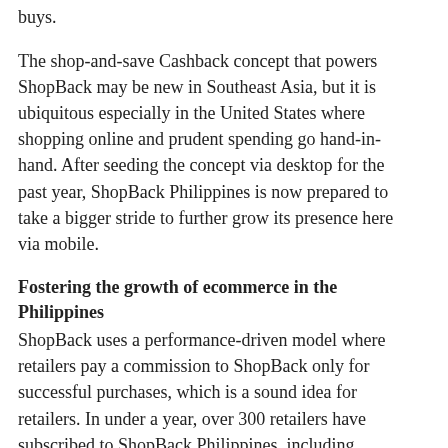buys.
The shop-and-save Cashback concept that powers ShopBack may be new in Southeast Asia, but it is ubiquitous especially in the United States where shopping online and prudent spending go hand-in-hand. After seeding the concept via desktop for the past year, ShopBack Philippines is now prepared to take a bigger stride to further grow its presence here via mobile.
Fostering the growth of ecommerce in the Philippines
ShopBack uses a performance-driven model where retailers pay a commission to ShopBack only for successful purchases, which is a sound idea for retailers. In under a year, over 300 retailers have subscribed to ShopBack Philippines, including online stores such as Lazada, Agoda, AliExpress and CashCashPinoy.